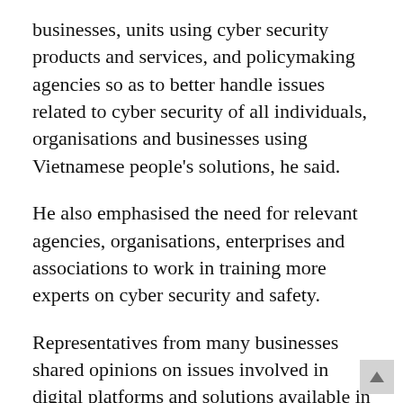businesses, units using cyber security products and services, and policymaking agencies so as to better handle issues related to cyber security of all individuals, organisations and businesses using Vietnamese people's solutions, he said.
He also emphasised the need for relevant agencies, organisations, enterprises and associations to work in training more experts on cyber security and safety.
Representatives from many businesses shared opinions on issues involved in digital platforms and solutions available in Viet Nam.
They said that Viet Nam is lacking senior experts on cyber security and safety.
David Soldani, a Huawei ICT Security Expert within the ASIA Pacific region said 5G is expected to provide reliable low-latency connectivity for remote and